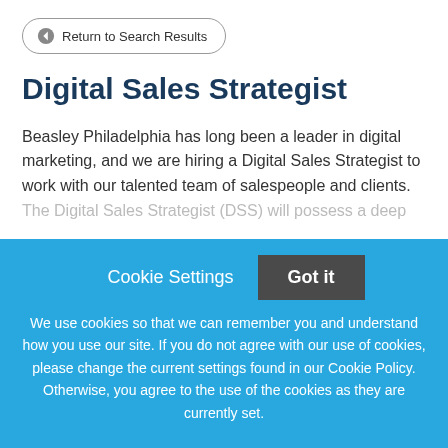← Return to Search Results
Digital Sales Strategist
Beasley Philadelphia has long been a leader in digital marketing, and we are hiring a Digital Sales Strategist to work with our talented team of salespeople and clients.
The Digital Sales Strategist (DSS) will possess a deep
Cookie Settings   Got it
We use cookies so that we can remember you and understand how you use our site. If you do not agree with our use of cookies, please change the current settings found in our Cookie Policy. Otherwise, you agree to the use of the cookies as they are currently set.